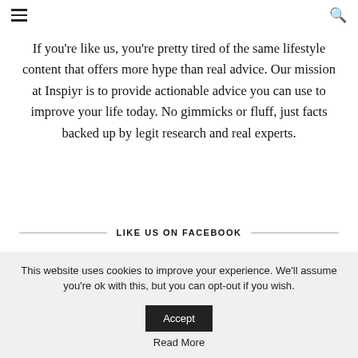≡  🔍
If you're like us, you're pretty tired of the same lifestyle content that offers more hype than real advice. Our mission at Inspiyr is to provide actionable advice you can use to improve your life today. No gimmicks or fluff, just facts backed up by legit research and real experts.
LIKE US ON FACEBOOK
This website uses cookies to improve your experience. We'll assume you're ok with this, but you can opt-out if you wish. Accept Read More